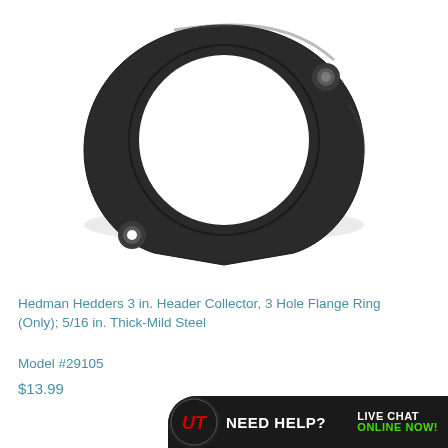[Figure (photo): A dark gray/black steel header collector flange ring with a large circular opening in the center and three bolt holes, photographed on a white background.]
Hedman Hedders 3 in. Header Collector, 3 Hole Flange Ring (Only); 5/16 in. Thick-Mild Steel
Model #29105
$13.99
[Figure (logo): UT logo banner with text NEED HELP? LIVE CHAT ONLINE NOW! on dark background with round logo on left.]